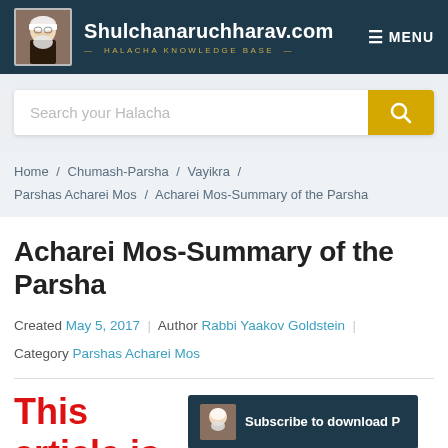Shulchanaruchharav.com — HALACHA KNOWLEDGE BASE — MENU
[Figure (screenshot): Search bar with placeholder 'Search your Halacha' and a yellow search button]
Home / Chumash-Parsha / Vayikra / Parshas Acharei Mos / Acharei Mos-Summary of the Parsha
Acharei Mos-Summary of the Parsha
Created May 5, 2017 | Author Rabbi Yaakov Goldstein | Category Parshas Acharei Mos
This article is an excerpt from our Sefer